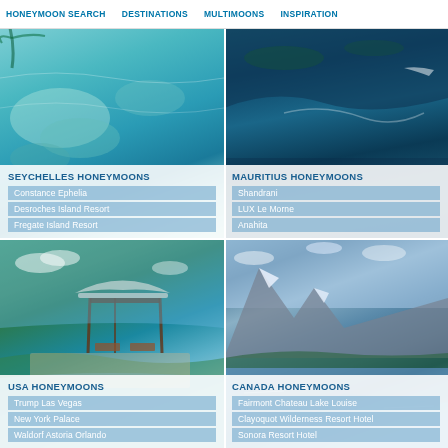HONEYMOON SEARCH | DESTINATIONS | MULTIMOONS | INSPIRATION
[Figure (photo): Aerial view of Seychelles turquoise lagoon and coral reef]
SEYCHELLES HONEYMOONS
Constance Ephelia
Desroches Island Resort
Fregate Island Resort
[Figure (photo): Aerial view of Mauritius deep blue ocean coastline]
MAURITIUS HONEYMOONS
Shandrani
LUX Le Morne
Anahita
[Figure (photo): Luxury resort infinity pool overlooking ocean with gazebo]
USA HONEYMOONS
Trump Las Vegas
New York Palace
Waldorf Astoria Orlando
[Figure (photo): Canadian Rocky Mountains reflected in turquoise Moraine Lake]
CANADA HONEYMOONS
Fairmont Chateau Lake Louise
Clayoquot Wilderness Resort Hotel
Sonora Resort Hotel